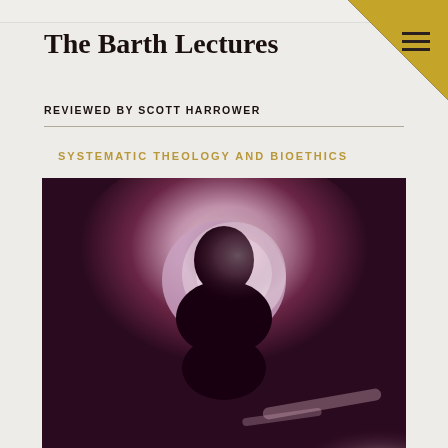The Barth Lectures
REVIEWED BY SCOTT HARROWER
SYSTEMATIC THEOLOGY AND BIOETHICS
[Figure (photo): A dark purple-toned photograph of a person (silhouette) kneeling or crouching with head bowed, against a dimly lit background with a circular light source behind them]